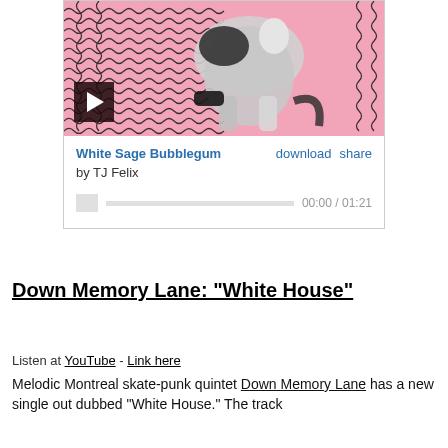[Figure (screenshot): Embedded music player widget showing album art (cat on pink squiggly background), play button, track title 'White Sage Bubblegum' by TJ Felix, download and share links, progress bar, and time display 00:00 / 01:21]
Down Memory Lane: "White House"
Listen at YouTube - Link here
Melodic Montreal skate-punk quintet Down Memory Lane has a new single out dubbed "White House." The track follows "Please, Be Anything but Indifferent" and...